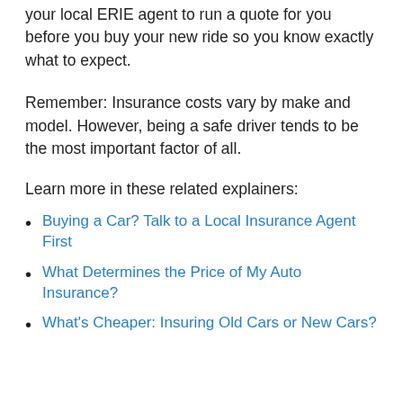your local ERIE agent to run a quote for you before you buy your new ride so you know exactly what to expect.
Remember: Insurance costs vary by make and model. However, being a safe driver tends to be the most important factor of all.
Learn more in these related explainers:
Buying a Car? Talk to a Local Insurance Agent First
What Determines the Price of My Auto Insurance?
What's Cheaper: Insuring Old Cars or New Cars?